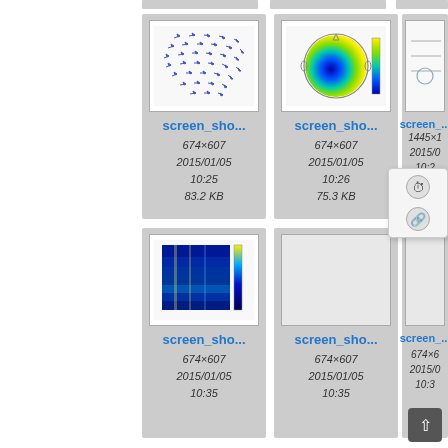[Figure (screenshot): File browser grid showing screenshot thumbnails. Top row (partial): three truncated cards. Middle row: three file cards with thumbnails — screen_sho... (vector field plot, 674×607, 2015/01/05 10:25, 83.2 KB), screen_sho... (topomap EEG heatmap, 674×607, 2015/01/05 10:26, 75.3 KB), screen_sho... (partially cropped, 1445×?, 2015/0? 10:2?, 3?). Bottom row: screen_sho... (spectrogram, 674×607, 2015/01/05 10:35), screen_sho... (empty, 674×607, 2015/01/05 10:35), screen_sho... (partially cropped, 674×?, 2015/0? 10:3?). A tooltip/context menu overlay appears near top-right card. A scroll-to-top button in bottom-right.]